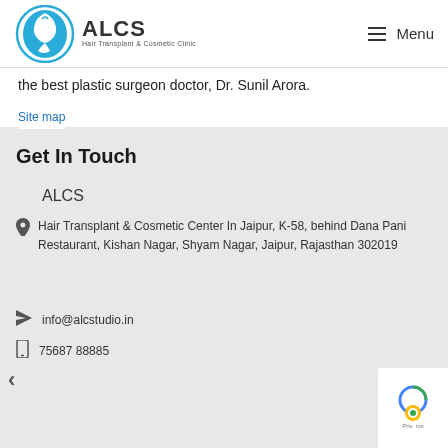ALCS Hair Transplant & Cosmetic Clinic — Menu
the best plastic surgeon doctor, Dr. Sunil Arora.
Site map
Get In Touch
ALCS
Hair Transplant & Cosmetic Center In Jaipur, K-58, behind Dana Pani Restaurant, Kishan Nagar, Shyam Nagar, Jaipur, Rajasthan 302019
info@alcstudio.in
75687 88885